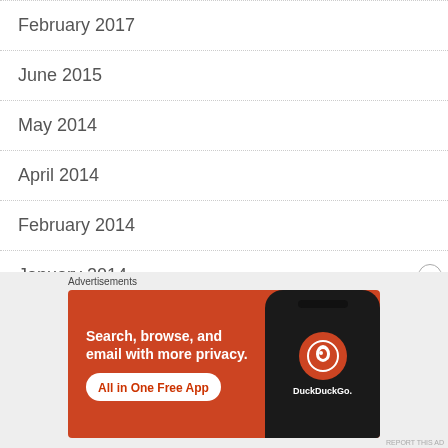February 2017
June 2015
May 2014
April 2014
February 2014
January 2014
December 2013
[Figure (screenshot): DuckDuckGo advertisement banner: orange background with text 'Search, browse, and email with more privacy. All in One Free App' and image of a phone with DuckDuckGo logo]